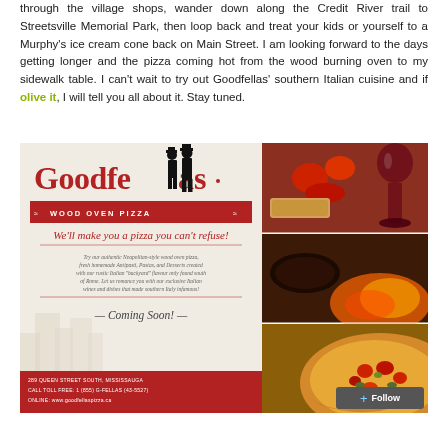through the village shops, wander down along the Credit River trail to Streetsville Memorial Park, then loop back and treat your kids or yourself to a Murphy's ice cream cone back on Main Street. I am looking forward to the days getting longer and the pizza coming hot from the wood burning oven to my sidewalk table. I can't wait to try out Goodfellas' southern Italian cuisine and if olive it, I will tell you all about it. Stay tuned.
[Figure (photo): Goodfellas Wood Oven Pizza advertisement showing the restaurant logo with two silhouetted figures, red banner reading 'Wood Oven Pizza', tagline 'We'll make you a pizza you can't refuse!', Italian food description text, 'Coming Soon!' text, red footer with address and contact info, and collage of food photos including bruschetta, wine glass, wood-fired pizza, and fire]